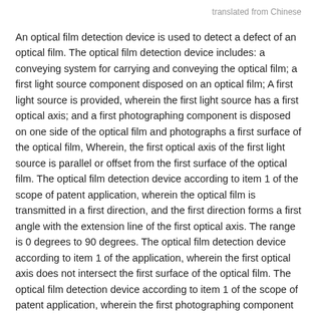translated from Chinese
An optical film detection device is used to detect a defect of an optical film. The optical film detection device includes: a conveying system for carrying and conveying the optical film; a first light source component disposed on an optical film; A first light source is provided, wherein the first light source has a first optical axis; and a first photographing component is disposed on one side of the optical film and photographs a first surface of the optical film, Wherein, the first optical axis of the first light source is parallel or offset from the first surface of the optical film. The optical film detection device according to item 1 of the scope of patent application, wherein the optical film is transmitted in a first direction, and the first direction forms a first angle with the extension line of the first optical axis. The range is 0 degrees to 90 degrees. The optical film detection device according to item 1 of the application, wherein the first optical axis does not intersect the first surface of the optical film. The optical film detection device according to item 1 of the scope of patent application, wherein the first photographing component has a lens unit, a second angle between the first optical axis and a central axis of the lens unit, and the second The included angle ranges from 30 degrees to 90 degrees. The optical film detection device according to item 1 of the scope of patent application, wherein the first light